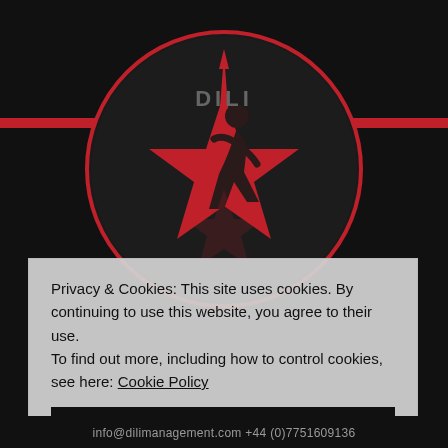[Figure (logo): Dili Management logo: dark circle with red star, silhouette of a running figure, red arrow/spike pointing up, text 'DILI' in gray]
Privacy & Cookies: This site uses cookies. By continuing to use this website, you agree to their use.
To find out more, including how to control cookies, see here: Cookie Policy
Close and accept
info@dilimanagement.com +44 (0)7751609136